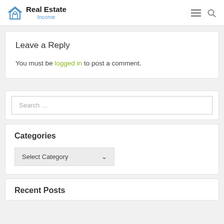Real Estate Income
Leave a Reply
You must be logged in to post a comment.
Search …
Categories
Select Category
Recent Posts